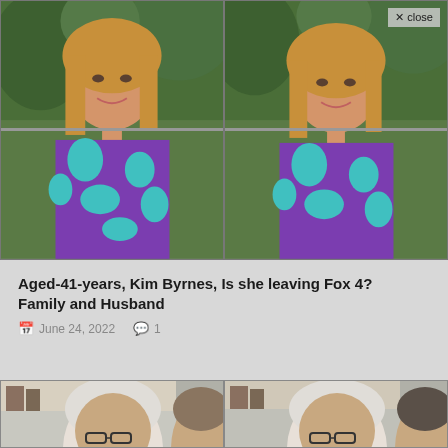[Figure (photo): Two side-by-side photos of a woman (Kim Byrnes) with blonde hair wearing a blue and purple floral top, smiling, with trees in background. A close button appears top-right.]
Aged-41-years, Kim Byrnes, Is she leaving Fox 4? Family and Husband
June 24, 2022   1
[Figure (photo): Two side-by-side partial photos of an elderly man with white hair and glasses, partially cropped, at the bottom of the page.]